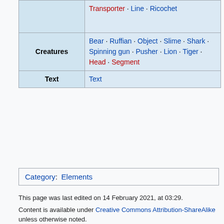|  |  |
| --- | --- |
|  | Transporter · Line · Ricochet |
| Creatures | Bear · Ruffian · Object · Slime · Shark · Spinning gun · Pusher · Lion · Tiger · Head · Segment |
| Text | Text |
Category: Elements
This page was last edited on 14 February 2021, at 03:29.

Content is available under Creative Commons Attribution-ShareAlike unless otherwise noted.

Privacy policy   About Wiki of ZZT

Disclaimers